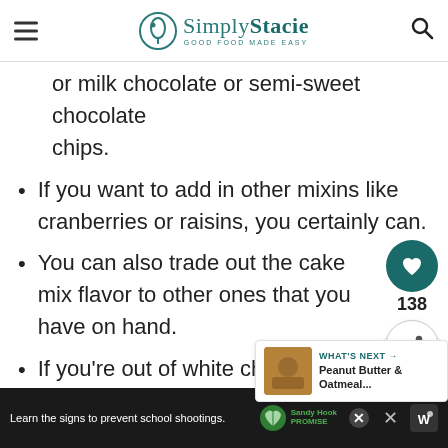Simply Stacie — Good Food Made Easy
or milk chocolate or semi-sweet chocolate chips.
If you want to add in other mixins like cranberries or raisins, you certainly can.
You can also trade out the cake mix flavor to other ones that you have on hand.
If you're out of white chocolate chips you can get a white chocolate bar and chop it up into small chunks.
Learn the signs to prevent school shootings. Sandy Hook Promise